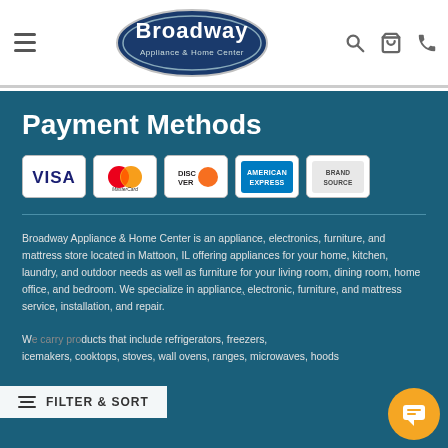Broadway Appliance & Home Center — navigation header with logo, search, cart, and phone icons
Payment Methods
[Figure (logo): Five payment method card logos: Visa, MasterCard, Discover, American Express, Brand Source]
Broadway Appliance & Home Center is an appliance, electronics, furniture, and mattress store located in Mattoon, IL offering appliances for your home, kitchen, laundry, and outdoor needs as well as furniture for your living room, dining room, home office, and bedroom. We specialize in appliance, electronic, furniture, and mattress service, installation, and repair. We carry products that include refrigerators, freezers, icemakers, cooktops, stoves, wall ovens, ranges, microwaves, hoods
FILTER & SORT